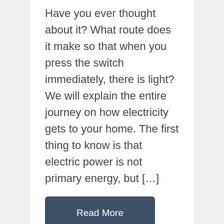Have you ever thought about it? What route does it make so that when you press the switch immediately, there is light? We will explain the entire journey on how electricity gets to your home. The first thing to know is that electric power is not primary energy, but […]
Read More
Mauro, LEED AP
Climate Change
Saving